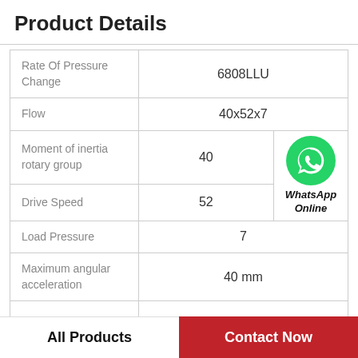Product Details
| Property | Value |
| --- | --- |
| Rate Of Pressure Change | 6808LLU |
| Flow | 40x52x7 |
| Moment of inertia rotary group | 40 |
| Drive Speed | 52 |
| Load Pressure | 7 |
| Maximum angular acceleration | 40 mm |
[Figure (logo): WhatsApp green phone icon with label 'WhatsApp Online']
All Products
Contact Now